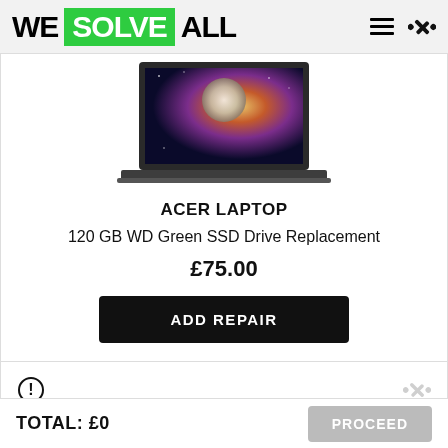WE SOLVE ALL
[Figure (photo): Acer laptop open showing colorful wallpaper on screen, viewed slightly from above]
ACER LAPTOP
120 GB WD Green SSD Drive Replacement
£75.00
ADD REPAIR
TOTAL: £0
PROCEED